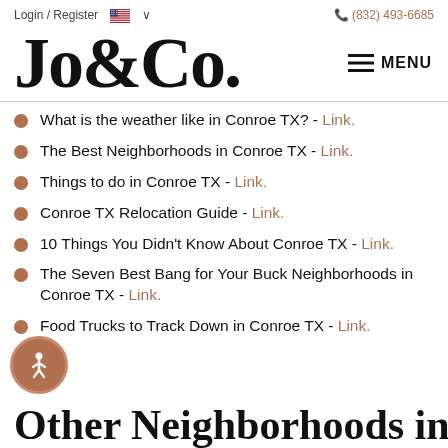Login / Register  (832) 493-6685
Jo&Co.
What is the weather like in Conroe TX? - Link.
The Best Neighborhoods in Conroe TX - Link.
Things to do in Conroe TX - Link.
Conroe TX Relocation Guide - Link.
10 Things You Didn't Know About Conroe TX - Link.
The Seven Best Bang for Your Buck Neighborhoods in Conroe TX - Link.
Food Trucks to Track Down in Conroe TX - Link.
Other Neighborhoods in